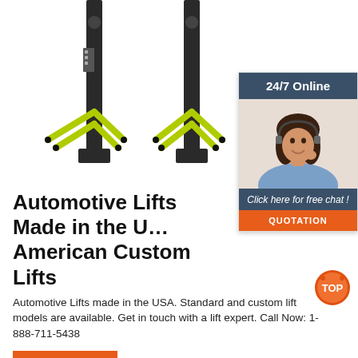[Figure (photo): Two-post automotive lift with yellow arms on white background]
[Figure (infographic): 24/7 online chat widget with woman wearing headset, 'Click here for free chat!' text, and orange QUOTATION button]
Automotive Lifts Made in the USA American Custom Lifts
Automotive Lifts made in the USA. Standard and custom lift models are available. Get in touch with a lift expert. Call Now: 1-888-711-5438
[Figure (logo): TOP badge logo in orange and red]
Get Price